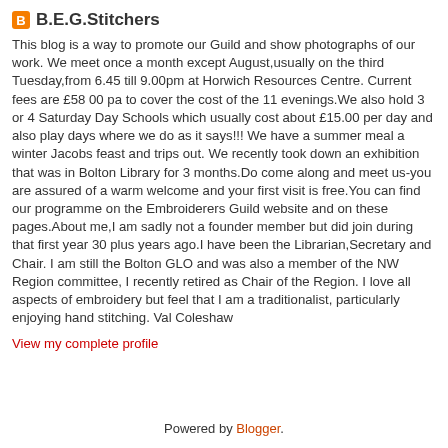B.E.G.Stitchers
This blog is a way to promote our Guild and show photographs of our work. We meet once a month except August,usually on the third Tuesday,from 6.45 till 9.00pm at Horwich Resources Centre. Current fees are £58 00 pa to cover the cost of the 11 evenings.We also hold 3 or 4 Saturday Day Schools which usually cost about £15.00 per day and also play days where we do as it says!!! We have a summer meal a winter Jacobs feast and trips out. We recently took down an exhibition that was in Bolton Library for 3 months.Do come along and meet us-you are assured of a warm welcome and your first visit is free.You can find our programme on the Embroiderers Guild website and on these pages.About me,I am sadly not a founder member but did join during that first year 30 plus years ago.I have been the Librarian,Secretary and Chair. I am still the Bolton GLO and was also a member of the NW Region committee, I recently retired as Chair of the Region. I love all aspects of embroidery but feel that I am a traditionalist, particularly enjoying hand stitching. Val Coleshaw
View my complete profile
Powered by Blogger.